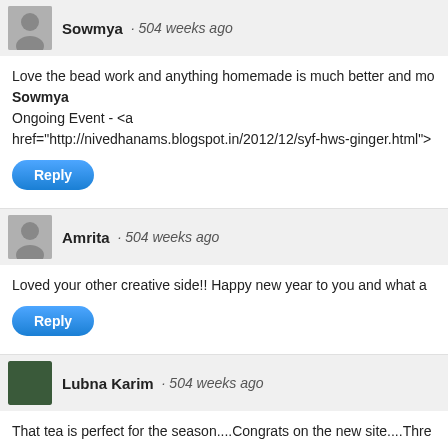Sowmya · 504 weeks ago
Love the bead work and anything homemade is much better and mo
Sowmya
Ongoing Event - <a
href="http://nivedhanams.blogspot.in/2012/12/syf-hws-ginger.html">
Reply
Amrita · 504 weeks ago
Loved your other creative side!! Happy new year to you and what a
Reply
Lubna Karim · 504 weeks ago
That tea is perfect for the season....Congrats on the new site....Thre
Reply
uma · 504 weeks ago
loved the bead necklace.. and this chai is all I need for winter morni
you are talented girl 😊